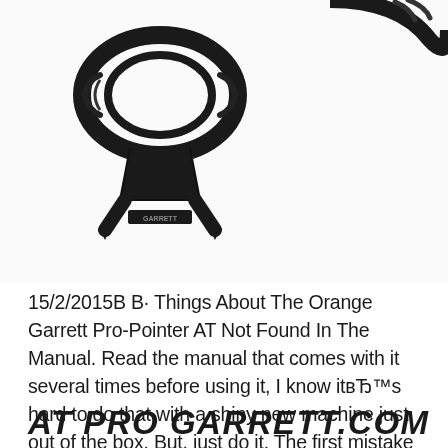[Figure (photo): Black Garrett metal detector Pro-Pointer AT device shown as a product photo on white background, with a stand/holster accessory visible. Another partial device visible in top right corner.]
15/2/2015В В· Things About The Orange Garrett Pro-Pointer AT Not Found In The Manual. Read the manual that comes with it several times before using it, I know itвЂ™s hard to do that with a shiny new machine just out of the box. But, just do it. The first mistake any learner will do is to set the sensitivity (sens) too high, There are 8 bars of sens and the Ace is a very sensitive machine. Tip No.1.
AT PRO GARRETT.COM